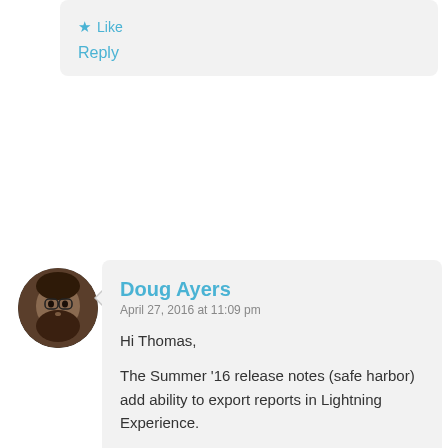Like
Reply
Doug Ayers
April 27, 2016 at 11:09 pm
Hi Thomas,

The Summer '16 release notes (safe harbor) add ability to export reports in Lightning Experience.

https://releasenotes.docs.salesforce.com/us/summer16/release-notes/rn_rd_reports_dashboards_expo